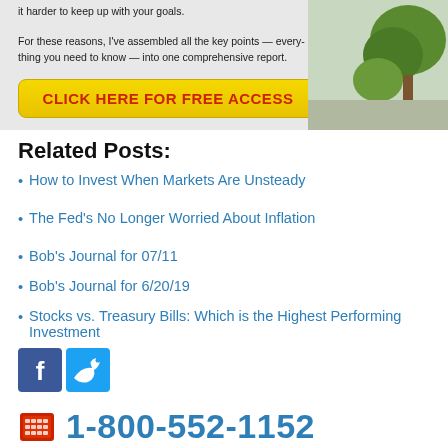[Figure (infographic): Banner with text about assembling key points into a comprehensive report, and a yellow 'CLICK HERE FOR FREE ACCESS' button, with a tree/nature image on the right]
Related Posts:
How to Invest When Markets Are Unsteady
The Fed's No Longer Worried About Inflation
Bob's Journal for 07/11
Bob's Journal for 6/20/19
Stocks vs. Treasury Bills: Which is the Highest Performing Investment
[Figure (logo): Facebook and Twitter social media icons]
1-800-552-1152